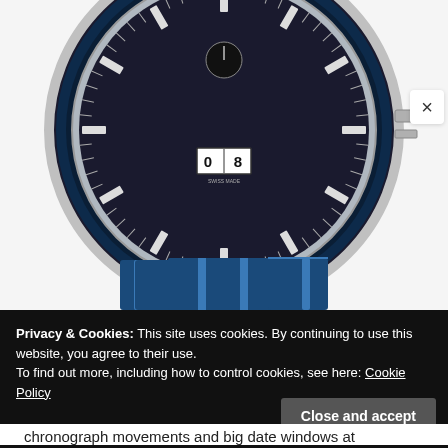[Figure (photo): Close-up photograph of a luxury watch with a dark blue/black dial, date window showing '08', silver indices, and a blue and silver bracelet. The watch bezel is dark blue with silver casing.]
×
Privacy & Cookies: This site uses cookies. By continuing to use this website, you agree to their use.
To find out more, including how to control cookies, see here: Cookie Policy
Close and accept
chronograph movements and big date windows at